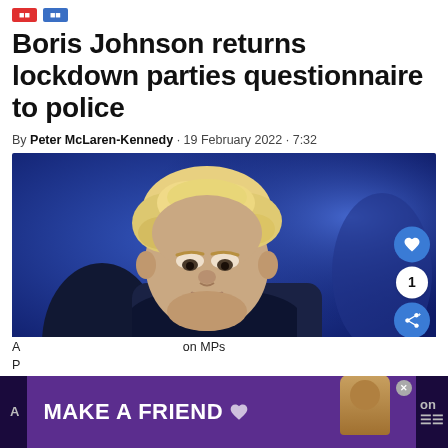[category tags]
Boris Johnson returns lockdown parties questionnaire to police
By Peter McLaren-Kennedy · 19 February 2022 · 7:32
[Figure (photo): Photo of Boris Johnson, a blond man in a dark suit, looking downward, against a blue background]
Credit: Wikimedia
A ... on MPs ...
[Figure (infographic): Advertisement banner: MAKE A FRIEND with dog image]